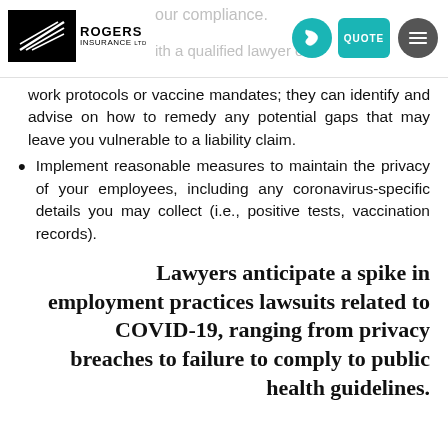Rogers Insurance
work protocols or vaccine mandates; they can identify and advise on how to remedy any potential gaps that may leave you vulnerable to a liability claim.
Implement reasonable measures to maintain the privacy of your employees, including any coronavirus-specific details you may collect (i.e., positive tests, vaccination records).
Lawyers anticipate a spike in employment practices lawsuits related to COVID-19, ranging from privacy breaches to failure to comply to public health guidelines.